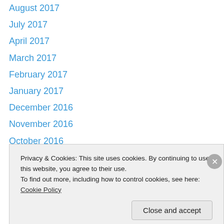August 2017
July 2017
April 2017
March 2017
February 2017
January 2017
December 2016
November 2016
October 2016
June 2016
April 2016
February 2016
January 2016
December 2015
Privacy & Cookies: This site uses cookies. By continuing to use this website, you agree to their use.
To find out more, including how to control cookies, see here: Cookie Policy
Close and accept